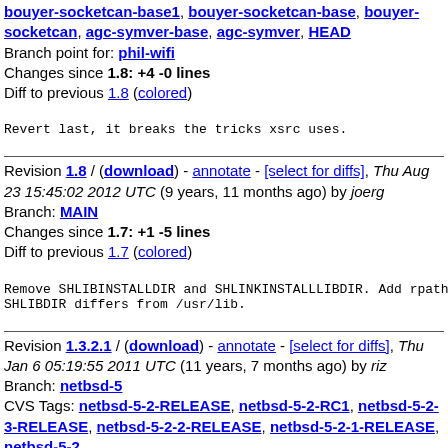bouyer-socketcan-base1, bouyer-socketcan-base, bouyer-socketcan, agc-symver-base, agc-symver, HEAD
Branch point for: phil-wifi
Changes since 1.8: +4 -0 lines
Diff to previous 1.8 (colored)
Revert last, it breaks the tricks xsrc uses.
Revision 1.8 / (download) - annotate - [select for diffs], Thu Aug 23 15:45:02 2012 UTC (9 years, 11 months ago) by joerg
Branch: MAIN
Changes since 1.7: +1 -5 lines
Diff to previous 1.7 (colored)
Remove SHLIBINSTALLDIR and SHLINKINSTALLLIBDIR. Add rpath if SHLIBDIR differs from /usr/lib.
Revision 1.3.2.1 / (download) - annotate - [select for diffs], Thu Jan 6 05:19:55 2011 UTC (11 years, 7 months ago) by riz
Branch: netbsd-5
CVS Tags: netbsd-5-2-RELEASE, netbsd-5-2-RC1, netbsd-5-2-3-RELEASE, netbsd-5-2-2-RELEASE, netbsd-5-2-1-RELEASE, netbsd-5-2
Changes since 1.3: +27 -37 lines
Diff to previous 1.3 (colored) next main 1.4 (colored)